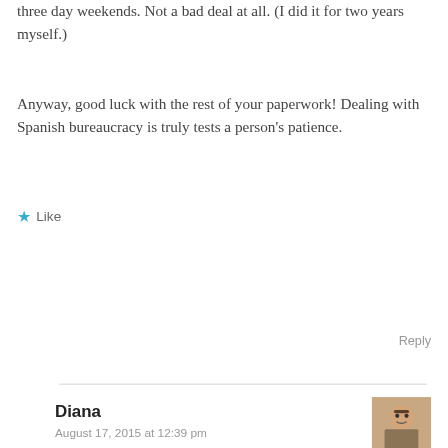three day weekends. Not a bad deal at all. (I did it for two years myself.)
Anyway, good luck with the rest of your paperwork! Dealing with Spanish bureaucracy is truly tests a person's patience.
★ Like
Reply
Diana
August 17, 2015 at 12:39 pm
Hi Estrella, I hadn't heard of that! Thank you for sharing! 🙂 Paperwork is now done (at least for this year!!).
★ Like